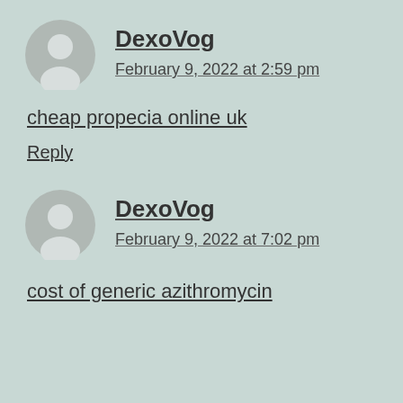DexoVog
February 9, 2022 at 2:59 pm
cheap propecia online uk
Reply
DexoVog
February 9, 2022 at 7:02 pm
cost of generic azithromycin